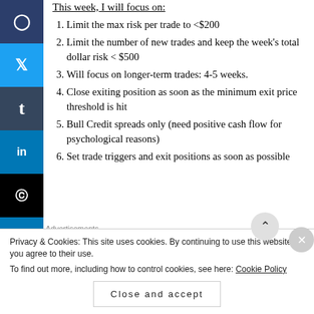This week, I will focus on:
Limit the max risk per trade to <$200
Limit the number of new trades and keep the week's total dollar risk < $500
Will focus on longer-term trades: 4-5 weeks.
Close exiting position as soon as the minimum exit price threshold is hit
Bull Credit spreads only (need positive cash flow for psychological reasons)
Set trade triggers and exit positions as soon as possible
Advertisements
Privacy & Cookies: This site uses cookies. By continuing to use this website, you agree to their use. To find out more, including how to control cookies, see here: Cookie Policy
Close and accept